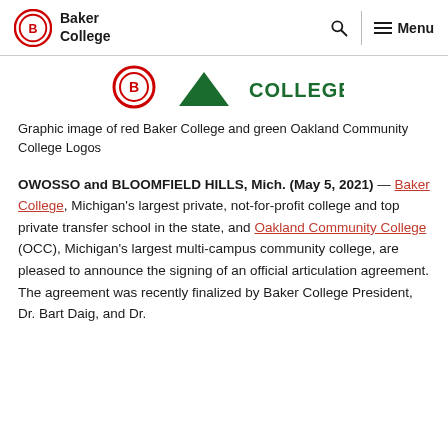Baker College — Navigation header with search and menu
[Figure (logo): Graphic showing red Baker College logo and green Oakland Community College logo side by side]
Graphic image of red Baker College and green Oakland Community College Logos
OWOSSO and BLOOMFIELD HILLS, Mich. (May 5, 2021) — Baker College, Michigan's largest private, not-for-profit college and top private transfer school in the state, and Oakland Community College (OCC), Michigan's largest multi-campus community college, are pleased to announce the signing of an official articulation agreement. The agreement was recently finalized by Baker College President, Dr. Bart Daig, and Dr.